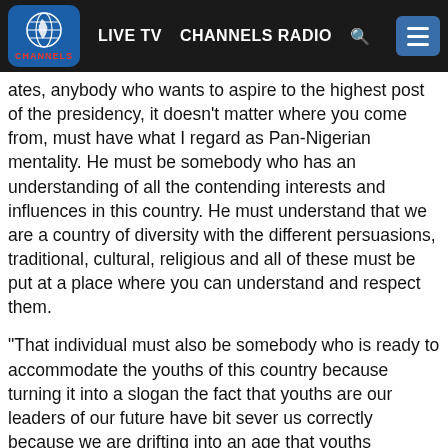LIVE TV  CHANNELS RADIO  [search]  [menu]
...ates, anybody who wants to aspire to the highest post of the presidency, it doesn't matter where you come from, must have what I regard as Pan-Nigerian mentality. He must be somebody who has an understanding of all the contending interests and influences in this country. He must understand that we are a country of diversity with the different persuasions, traditional, cultural, religious and all of these must be put at a place where you can understand and respect them.
“That individual must also be somebody who is ready to accommodate the youths of this country because turning it into a slogan the fact that youths are our leaders of our future have bit sever us correctly because we are drifting into an age that youths understand which many people may not understand, those who grew up before this era.
“So, that people must be willing to accommodate the youth without necessarily throwing away very experienced ones, he must be able to find a labyrinth of all the interests.
“He must also reflect an extreme women agenda. Such a must also be in investor-friendly, he must be and individual who understands the nuances of economics and what is the relationship between international politics and economy and the person must be strong